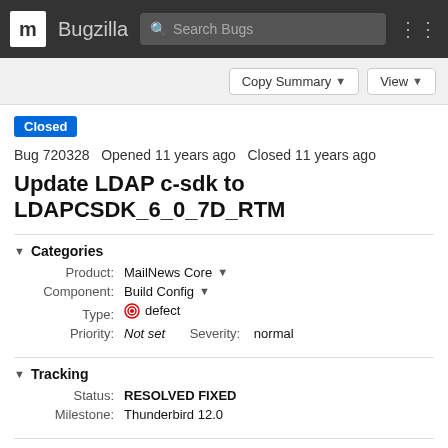m Bugzilla  Search Bugs
Copy Summary  View
Closed  Bug 720328  Opened 11 years ago  Closed 11 years ago
Update LDAP c-sdk to LDAPCSDK_6_0_7D_RTM
Categories
Product: MailNews Core
Component: Build Config
Type: defect
Priority: Not set  Severity: normal
Tracking
Status: RESOLVED FIXED
Milestone: Thunderbird 12.0
People (Reporter: standard8, Assigned: standard8)
References